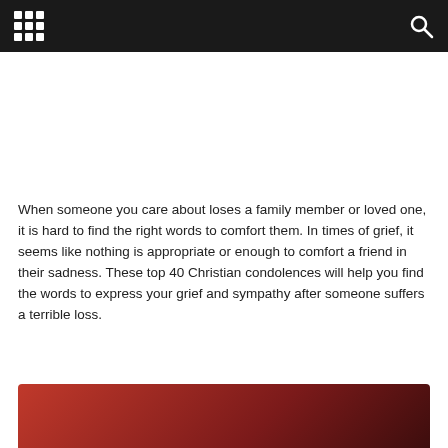[navigation bar with grid menu and search icon]
When someone you care about loses a family member or loved one, it is hard to find the right words to comfort them. In times of grief, it seems like nothing is appropriate or enough to comfort a friend in their sadness. These top 40 Christian condolences will help you find the words to express your grief and sympathy after someone suffers a terrible loss.
[Figure (photo): Reddish-brown gradient background image, partially visible at bottom of page]